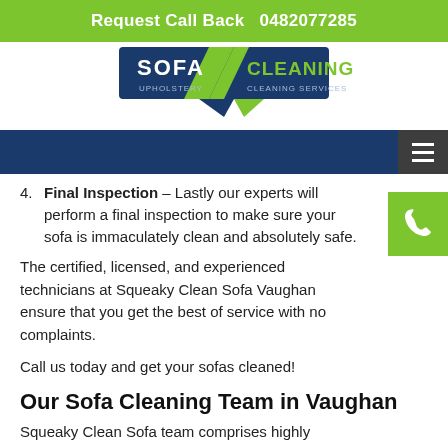Request Call Back  0482077285
[Figure (logo): Sofa Cleaning Upholstery / Cleaning Services logo with dark blue banner and green ribbon shapes]
4. Final Inspection – Lastly our experts will perform a final inspection to make sure your sofa is immaculately clean and absolutely safe.
The certified, licensed, and experienced technicians at Squeaky Clean Sofa Vaughan ensure that you get the best of service with no complaints.
Call us today and get your sofas cleaned!
Our Sofa Cleaning Team in Vaughan
Squeaky Clean Sofa team comprises highly talented and extremely experienced cleaners from different suburbs of Vaughan. We work with a single aim to provide